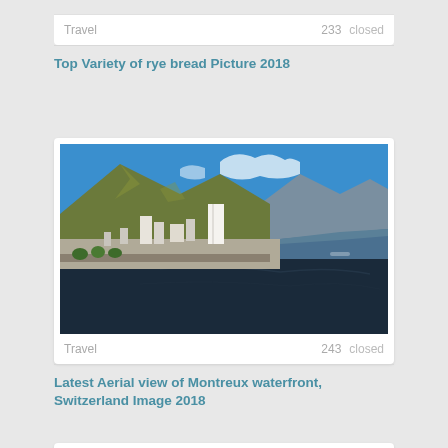Travel    233    closed
Top Variety of rye bread Picture 2018
[Figure (photo): Aerial view of Montreux waterfront, Switzerland — city buildings along lakefront with mountains behind under blue sky]
Travel    243    closed
Latest Aerial view of Montreux waterfront, Switzerland Image 2018